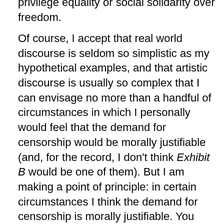privilege equality or social solidarity over freedom.
Of course, I accept that real world discourse is seldom so simplistic as my hypothetical examples, and that artistic discourse is usually so complex that I can envisage no more than a handful of circumstances in which I personally would feel that the demand for censorship would be morally justifiable (and, for the record, I don't think Exhibit B would be one of them). But I am making a point of principle: in certain circumstances I think the demand for censorship is morally justifiable. You seem to think that the point of my article was to say that free speech advocates are the 'real' censors. It is not. Indeed, I think we are all 'censors' in one sense because we all participate in the process of defining the restraints on expression that make civilized discourse and debate possible, a point not lost on those older liberals who recognized the fundamental value